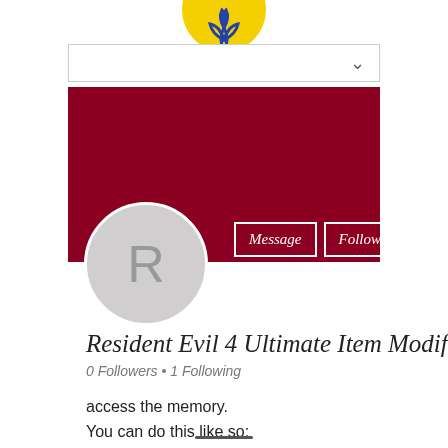[Figure (logo): Partial yellow circular logo with blue floral/rose design, cropped at top]
[Figure (screenshot): Mobile app profile page UI with dark red banner, avatar circle with letter R, Message and Follow buttons, profile name 'Resident Evil 4 Ultimate Item Modifi...', follower count '0 Followers • 1 Following', and post text 'access the memory. You can do this like so: uint32_t pointer =']
access the memory.
You can do this like so:
uint32_t pointer =